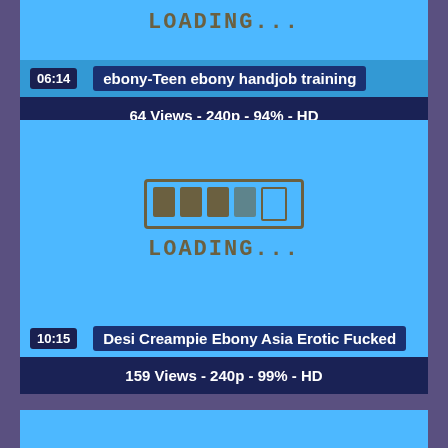[Figure (screenshot): Partial video thumbnail showing loading screen with blue background and partial LOADING... text at top]
06:14   ebony-Teen ebony handjob training
64 Views - 240p - 94% - HD
[Figure (screenshot): Video thumbnail showing blue background with a loading bar icon and LOADING... text drawn in dark olive color]
10:15   Desi Creampie Ebony Asia Erotic Fucked
159 Views - 240p - 99% - HD
[Figure (screenshot): Partial video thumbnail at bottom of page showing blue background]